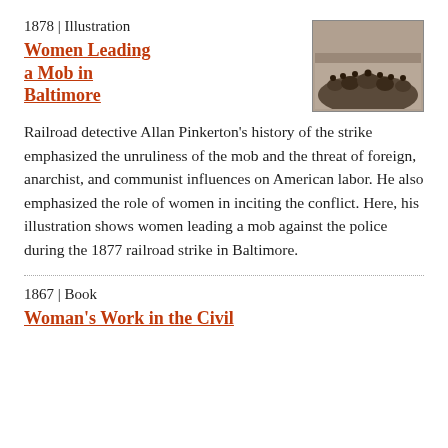1878 | Illustration
[Figure (photo): Small thumbnail photograph of a crowd scene, likely depicting a mob or large gathering, sepia-toned historical image.]
Women Leading a Mob in Baltimore
Railroad detective Allan Pinkerton's history of the strike emphasized the unruliness of the mob and the threat of foreign, anarchist, and communist influences on American labor. He also emphasized the role of women in inciting the conflict. Here, his illustration shows women leading a mob against the police during the 1877 railroad strike in Baltimore.
1867 | Book
Woman's Work in the Civil